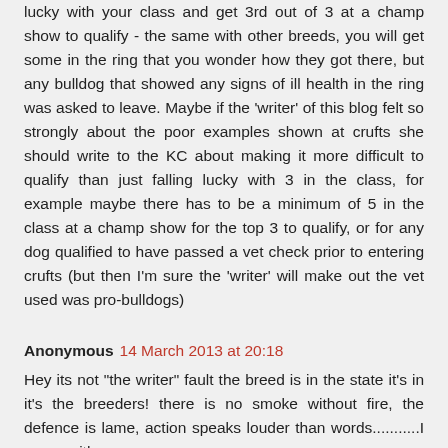lucky with your class and get 3rd out of 3 at a champ show to qualify - the same with other breeds, you will get some in the ring that you wonder how they got there, but any bulldog that showed any signs of ill health in the ring was asked to leave. Maybe if the 'writer' of this blog felt so strongly about the poor examples shown at crufts she should write to the KC about making it more difficult to qualify than just falling lucky with 3 in the class, for example maybe there has to be a minimum of 5 in the class at a champ show for the top 3 to qualify, or for any dog qualified to have passed a vet check prior to entering crufts (but then I'm sure the 'writer' will make out the vet used was pro-bulldogs)
Anonymous 14 March 2013 at 20:18
Hey its not "the writer" fault the breed is in the state it's in it's the breeders! there is no smoke without fire, the defence is lame, action speaks louder than words...........I agree with you on one